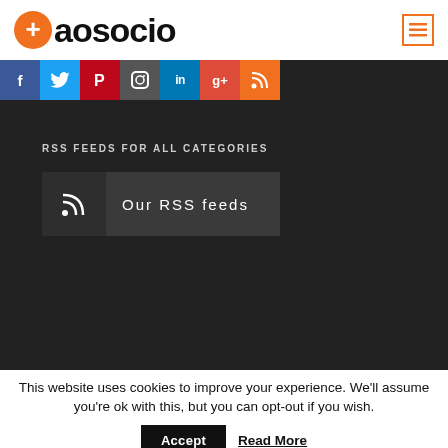aosocio
[Figure (screenshot): Social media icon bar with Facebook, Twitter, Pinterest, Instagram, LinkedIn, Google+, RSS icons]
RSS FEEDS FOR ALL CATEGORIES
[Figure (infographic): RSS feed button labeled 'Our RSS feeds' with RSS icon on dark background]
This website uses cookies to improve your experience. We'll assume you're ok with this, but you can opt-out if you wish.
Accept  Read More